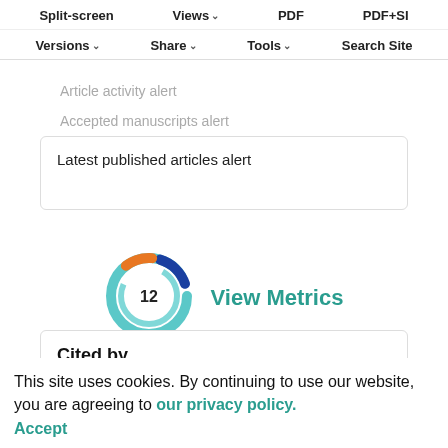Split-screen | Views | PDF | PDF+SI | Versions | Share | Tools | Search Site
Article activity alert
Accepted manuscripts alert
Table of contents alert
Latest published articles alert
[Figure (other): Circular metrics badge showing the number 12 with a colorful ring (blue, orange, teal) around it]
View Metrics
Cited by
Web of Science (250)
This site uses cookies. By continuing to use our website, you are agreeing to our privacy policy. Accept